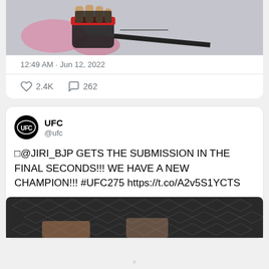[Figure (photo): MMA glove resting on the canvas mat, UFC/fight scene]
12:49 AM · Jun 12, 2022
2.4K likes, 262 comments
[Figure (logo): UFC circular logo in black and white]
UFC
@ufc
🥊@JIRI_BJP GETS THE SUBMISSION IN THE FINAL SECONDS!!! WE HAVE A NEW CHAMPION!!! #UFC275 https://t.co/A2v5S1YCTS
[Figure (photo): UFC octagon cage netting close-up at bottom of tweet]